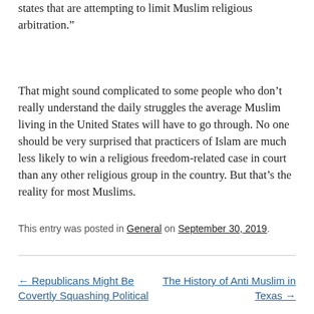states that are attempting to limit Muslim religious arbitration.”
That might sound complicated to some people who don’t really understand the daily struggles the average Muslim living in the United States will have to go through. No one should be very surprised that practicers of Islam are much less likely to win a religious freedom-related case in court than any other religious group in the country. But that’s the reality for most Muslims.
This entry was posted in General on September 30, 2019.
← Republicans Might Be Covertly Squashing Political
The History of Anti Muslim in Texas →